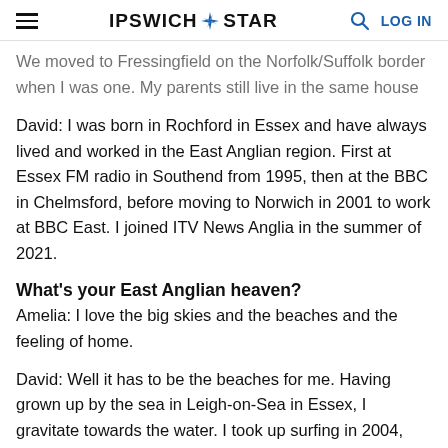IPSWICH STAR
We moved to Fressingfield on the Norfolk/Suffolk border when I was one. My parents still live in the same house in the village.
David: I was born in Rochford in Essex and have always lived and worked in the East Anglian region. First at Essex FM radio in Southend from 1995, then at the BBC in Chelmsford, before moving to Norwich in 2001 to work at BBC East. I joined ITV News Anglia in the summer of 2021.
What's your East Anglian heaven?
Amelia: I love the big skies and the beaches and the feeling of home.
David: Well it has to be the beaches for me. Having grown up by the sea in Leigh-on-Sea in Essex, I gravitate towards the water. I took up surfing in 2004,